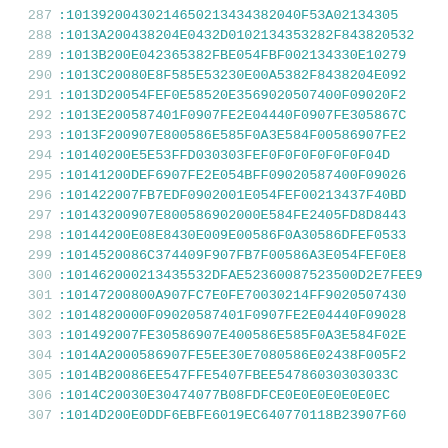287 :10139200430214650213434382040F53A02134305
288 :1013A200438204E0432D0102134353282F843820532
289 :1013B200E042365382FBE054FBF002134330E10279
290 :1013C20080E8F585E53230E00A5382F8438204E092
291 :1013D20054FEF0E58520E3569020507400F09020F2
292 :1013E200587401F0907FE2E04440F0907FE305867C
293 :1013F200907E800586E585F0A3E584F00586907FE2
294 :10140200E5E53FFD030303FEF0F0F0F0F0F0F04D
295 :10141200DEF6907FE2E054BFF09020587400F09026
296 :101422007FB7EDF0902001E054FEF00213437F40BD
297 :10143200907E800586902000E584FE2405FD8D8443
298 :10144200E08E8430E009E00586F0A30586DFEF0533
299 :1014520086C374409F907FB7F00586A3E054FEF0E8
300 :101462000213435532DFAE52360087525300D2E7FEE9
301 :10147200800A907FC7E0FE70030214FF9020507430
302 :1014820000F09020587401F0907FE2E04440F09028
303 :101492007FE30586907E400586E585F0A3E584F02E
304 :1014A2000586907FE5EE30E7080586E02438F005F2
305 :1014B20086EE547FFE5407FBEE54786030303033C
306 :1014C20030E30474077B08FDFCE0E0E0E0E0E0EC
307 :1014D200E0DDF6EBFE6019EC640770118B23907F60